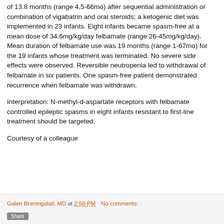of 13.8 months (range 4.5-66mo) after sequential administration or combination of vigabatrin and oral steroids; a ketogenic diet was implemented in 23 infants. Eight infants became spasm-free at a mean dose of 34.6mg/kg/day felbamate (range 26-45mg/kg/day). Mean duration of felbamate use was 19 months (range 1-67mo) for the 19 infants whose treatment was terminated. No severe side effects were observed. Reversible neutropenia led to withdrawal of felbamate in six patients. One spasm-free patient demonstrated recurrence when felbamate was withdrawn.
Interpretation: N-methyl-d-aspartate receptors with felbamate controlled epileptic spasms in eight infants resistant to first-line treatment should be targeted.
Courtesy of a colleague
Galen Breningstall, MD at 2:58 PM   No comments: